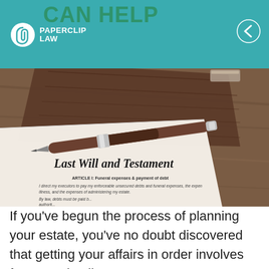CAN HELP — PAPERCLIP LAW
[Figure (photo): Photo of a 'Last Will and Testament' document with a pen resting on top of it, placed on a leather-bound notebook on a wooden surface. The document shows Article I about funeral expenses and payment of debts.]
If you've begun the process of planning your estate, you've no doubt discovered that getting your affairs in order involves far more details